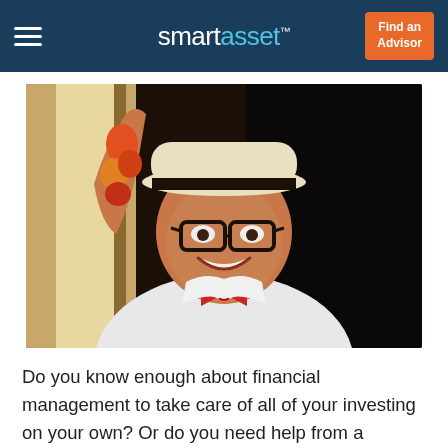smartasset™  Find an Advisor
[Figure (photo): Elderly man wearing a white hat with black band, thick-rimmed glasses, white shirt, and red bow tie. He is smiling and raising his arm, leaning against a doorframe. He has a colorful tattoo sleeve. Background is dark.]
Do you know enough about financial management to take care of all of your investing on your own? Or do you need help from a seasoned expert?